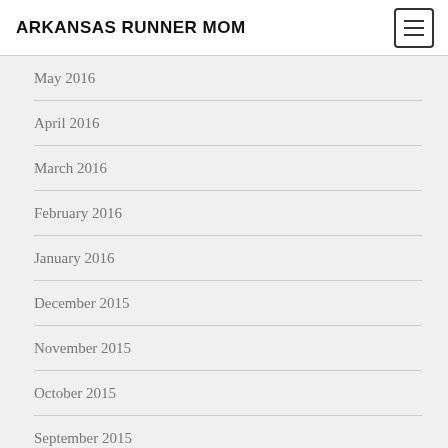ARKANSAS RUNNER MOM
May 2016
April 2016
March 2016
February 2016
January 2016
December 2015
November 2015
October 2015
September 2015
August 2015